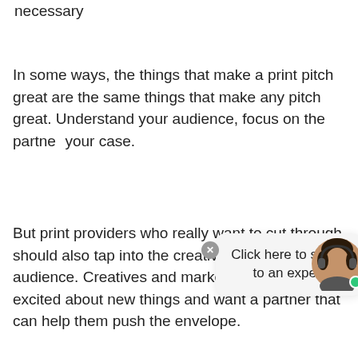necessary
In some ways, the things that make a print pitch great are the same things that make any pitch great. Understand your audience, focus on the partner… your case.
[Figure (illustration): Chat popup overlay with 'Click here to speak to an expert' text and a close button, alongside a circular avatar photo of a woman with a headset and a green online indicator dot.]
But print providers who really want to cut through should also tap into the creativity of their audience. Creatives and marketers are naturally excited about new things and want a partner that can help them push the envelope.